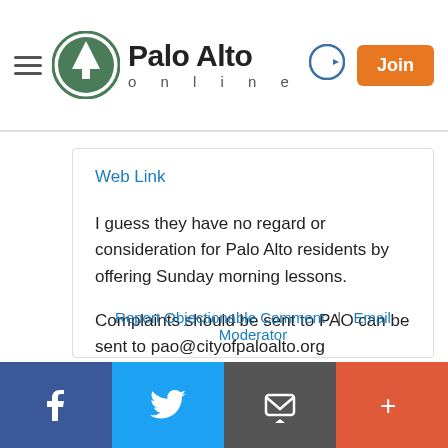Palo Alto online
Web Link
I guess they have no regard or consideration for Palo Alto residents by offering Sunday morning lessons.

Complaints should be sent to PAO can be sent to pao@cityofpaloalto.org
Report Objectionable Comment | Email Moderator